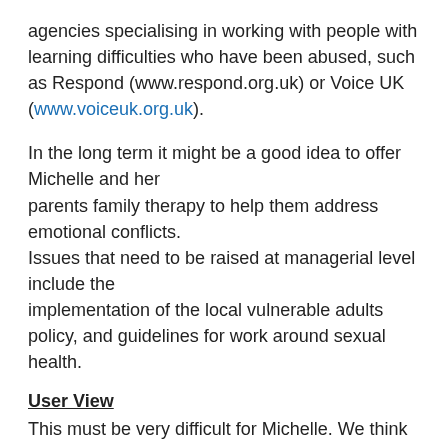agencies specialising in working with people with learning difficulties who have been abused, such as Respond (www.respond.org.uk) or Voice UK (www.voiceuk.org.uk).
In the long term it might be a good idea to offer Michelle and her parents family therapy to help them address emotional conflicts. Issues that need to be raised at managerial level include the implementation of the local vulnerable adults policy, and guidelines for work around sexual health.
User View
This must be very difficult for Michelle. We think that Michelle's parents were wrong to stop her attending the day service. Michelle is 27 years old and is not a child anymore and